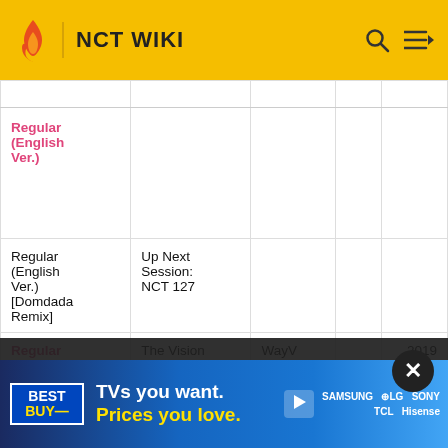NCT WIKI
| Song | Album | Artist |  | Year |
| --- | --- | --- | --- | --- |
| Regular (English Ver.) |  |  |  |  |
| Regular (English Ver.) [Domdada Remix] | Up Next Session: NCT 127 |  |  |  |
| Regular | The Vision | WayV |  | 2019 |
| Replay (PM 01:27) | NCT #127 Regular-Irregular | NCT 127 |  | 2018 |
| Resonance |  |  |  | 2020 |
[Figure (screenshot): Best Buy advertisement banner: 'TVs you want. Prices you love.' with Samsung, LG, Sony, TCL, Hisense logos]